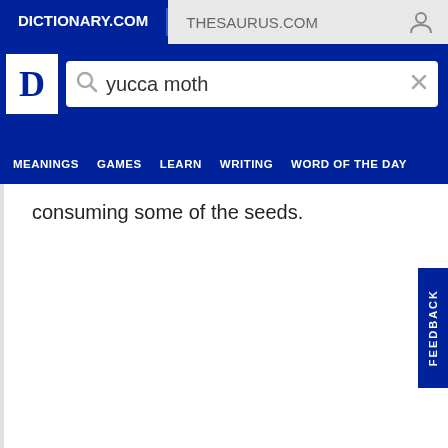DICTIONARY.COM | THESAURUS.COM
yucca moth
consuming some of the seeds.
[Figure (screenshot): FEEDBACK button on right side of page]